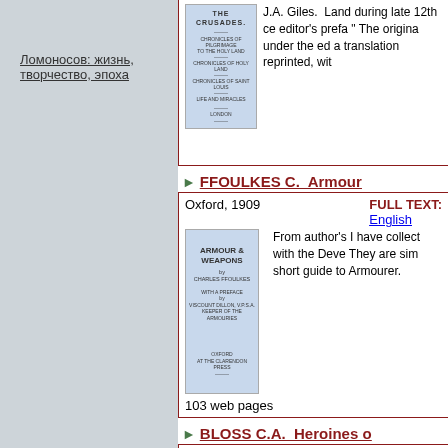Ломоносов: жизнь, творчество, эпоха
[Figure (illustration): Book cover thumbnail for 'The Crusades' (partially visible at top)]
J.A. Giles. Land during late 12th ce editor's prefa " The origina under the ed a translation reprinted, wit
FFOULKES C.  Armour
[Figure (illustration): Book cover thumbnail for 'Armour & Weapons' by Charles Ffoulkes]
Oxford, 1909
FULL TEXT:
English
From author's I have collect with the Deve They are sim short guide to Armourer.
103 web pages
BLOSS C.A.  Heroines o
Auburn-Rochester, 1853
FULL TEXT